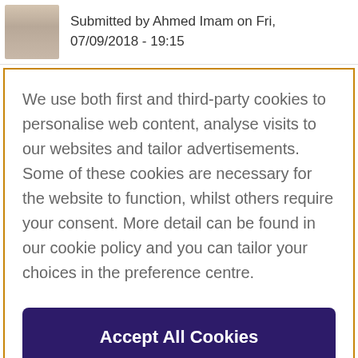Submitted by Ahmed Imam on Fri, 07/09/2018 - 19:15
We use both first and third-party cookies to personalise web content, analyse visits to our websites and tailor advertisements. Some of these cookies are necessary for the website to function, whilst others require your consent. More detail can be found in our cookie policy and you can tailor your choices in the preference centre.
Accept All Cookies
Cookies Settings